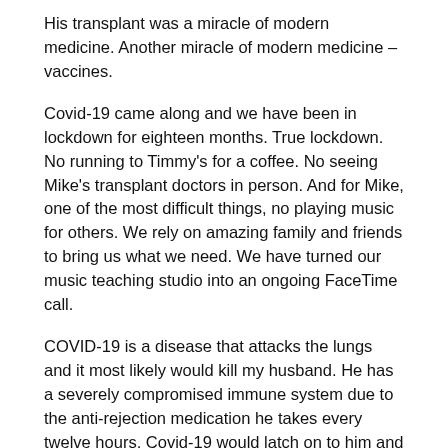His transplant was a miracle of modern medicine. Another miracle of modern medicine – vaccines.
Covid-19 came along and we have been in lockdown for eighteen months. True lockdown. No running to Timmy's for a coffee. No seeing Mike's transplant doctors in person. And for Mike, one of the most difficult things, no playing music for others. We rely on amazing family and friends to bring us what we need. We have turned our music teaching studio into an ongoing FaceTime call.
COVID-19 is a disease that attacks the lungs and it most likely would kill my husband. He has a severely compromised immune system due to the anti-rejection medication he takes every twelve hours. Covid-19 would latch on to him and not let go. So we have stayed home.